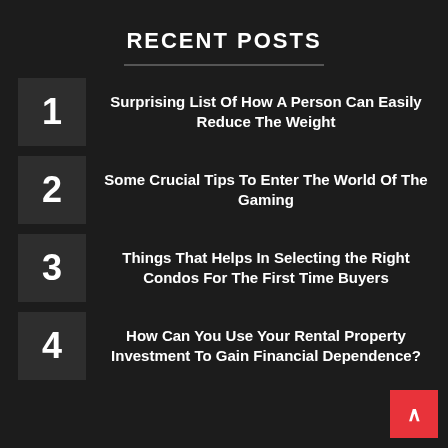RECENT POSTS
Surprising List Of How A Person Can Easily Reduce The Weight
Some Crucial Tips To Enter The World Of The Gaming
Things That Helps In Selecting the Right Condos For The First Time Buyers
How Can You Use Your Rental Property Investment To Gain Financial Dependence?